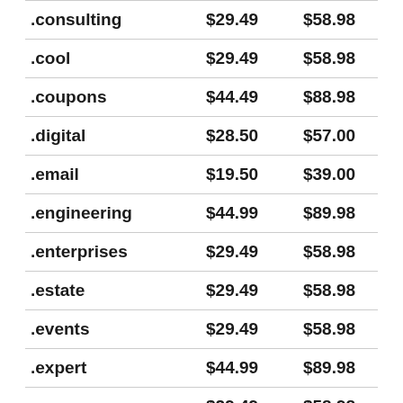| .consulting | $29.49 | $58.98 |
| .cool | $29.49 | $58.98 |
| .coupons | $44.49 | $88.98 |
| .digital | $28.50 | $57.00 |
| .email | $19.50 | $39.00 |
| .engineering | $44.99 | $89.98 |
| .enterprises | $29.49 | $58.98 |
| .estate | $29.49 | $58.98 |
| .events | $29.49 | $58.98 |
| .expert | $44.99 | $89.98 |
| .express | $29.49 | $58.98 |